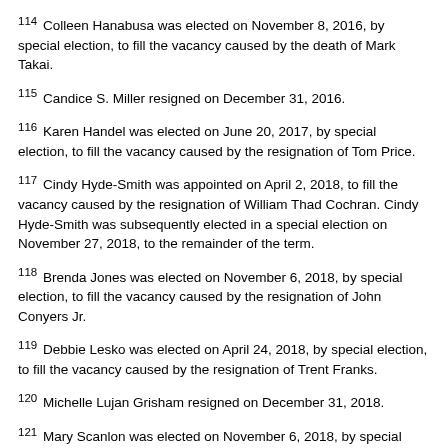114 Colleen Hanabusa was elected on November 8, 2016, by special election, to fill the vacancy caused by the death of Mark Takai.
115 Candice S. Miller resigned on December 31, 2016.
116 Karen Handel was elected on June 20, 2017, by special election, to fill the vacancy caused by the resignation of Tom Price.
117 Cindy Hyde-Smith was appointed on April 2, 2018, to fill the vacancy caused by the resignation of William Thad Cochran. Cindy Hyde-Smith was subsequently elected in a special election on November 27, 2018, to the remainder of the term.
118 Brenda Jones was elected on November 6, 2018, by special election, to fill the vacancy caused by the resignation of John Conyers Jr.
119 Debbie Lesko was elected on April 24, 2018, by special election, to fill the vacancy caused by the resignation of Trent Franks.
120 Michelle Lujan Grisham resigned on December 31, 2018.
121 Mary Scanlon was elected on November 6, 2018, by special election, to fill